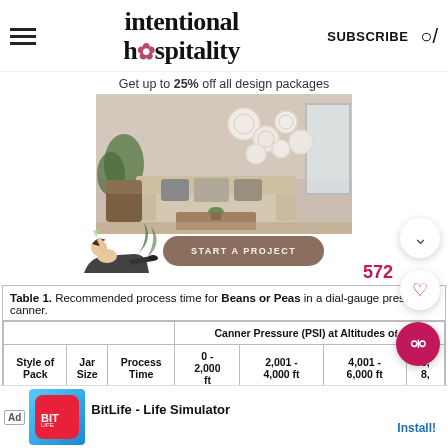[Figure (logo): Intentional Hospitality logo with pineapple icon in center of word 'hospitality', hamburger menu on left, SUBSCRIBE and search icon on right]
Get up to 25% off all design packages
[Figure (photo): Interior room design photo showing a couch, decorative plates on wall, plants, with a 'START A PROJECT' button overlay and lounging figure illustration]
| Style of Pack | Jar Size | Process Time | 0 - 2,000 ft | 2,001 - 4,000 ft | 4,001 - 6,000 ft | 6,001 - 8,000 ft |
| --- | --- | --- | --- | --- | --- | --- |
|  |  |  | Canner Pressure (PSI) at Altitudes of... |  |  |  |
|  |  |  | 14 lb |  |  | 14 |
[Figure (screenshot): Ad banner: BitLife - Life Simulator with Install! link]